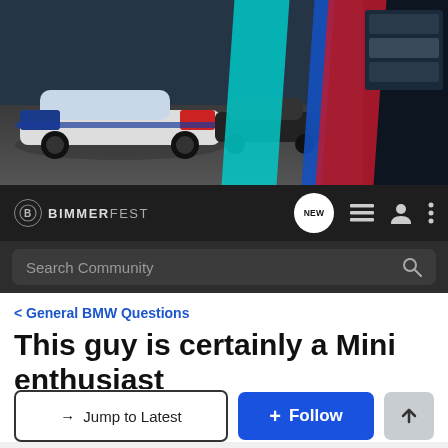[Figure (screenshot): Bimmerfest forum header banner showing BMW M cars on a racing track with cyan, blue, and red stripe overlay on the right side]
BIMMERFEST — navigation bar with NEW bubble, list icon, user icon, and menu icon
Search Community
< General BMW Questions
This guy is certainly a Mini enthusiast
→ Jump to Latest
+ Follow
1 - 19 of 19 Posts